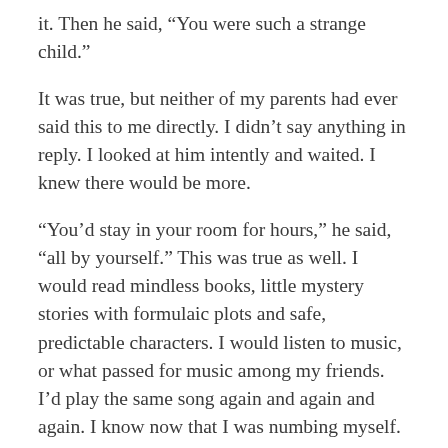it. Then he said, “You were such a strange child.”
It was true, but neither of my parents had ever said this to me directly. I didn’t say anything in reply. I looked at him intently and waited. I knew there would be more.
“You’d stay in your room for hours,” he said, “all by yourself.” This was true as well. I would read mindless books, little mystery stories with formulaic plots and safe, predictable characters. I would listen to music, or what passed for music among my friends. I’d play the same song again and again and again. I know now that I was numbing myself. I didn’t feel comfortable with the people around me, and I didn’t feel comfortable with myself. Somehow, I never realized that my father had noticed.
“I know that you and your mother have had difficulties,” he said, soldiering on, and at this I felt that I really